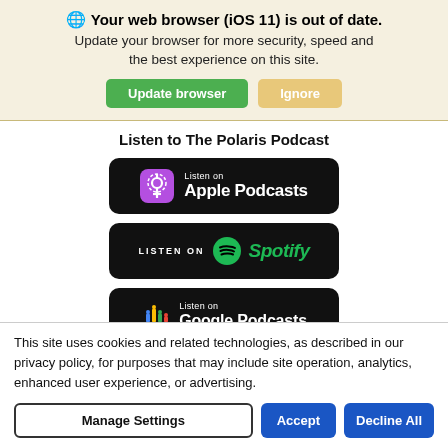🌐 Your web browser (iOS 11) is out of date. Update your browser for more security, speed and the best experience on this site.
Update browser | Ignore
Listen to The Polaris Podcast
[Figure (logo): Listen on Apple Podcasts badge — black rounded rectangle with purple podcast icon and white text]
[Figure (logo): Listen on Spotify badge — black rounded rectangle with green Spotify logo and green italic text]
[Figure (logo): Listen on Google Podcasts badge — black rounded rectangle with colorful Google Podcasts icon and white text]
This site uses cookies and related technologies, as described in our privacy policy, for purposes that may include site operation, analytics, enhanced user experience, or advertising.
Manage Settings | Accept | Decline All